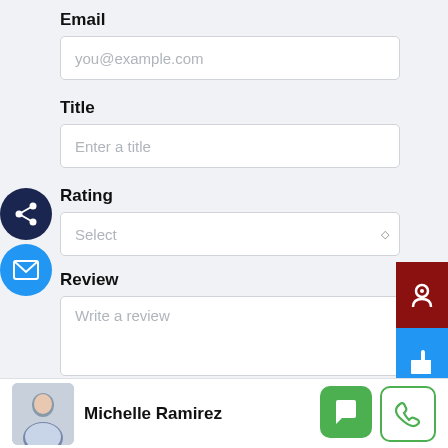Email
you@example.com
Title
Enter a title
Rating
Select
Review
Write a review
Michelle Ramirez